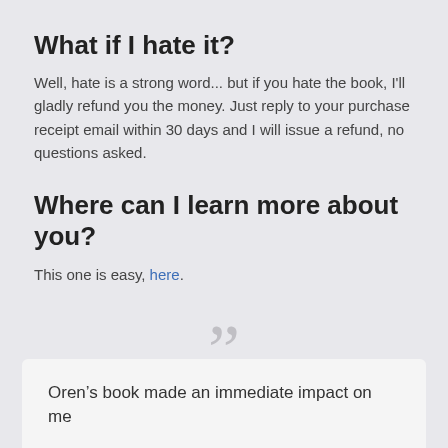What if I hate it?
Well, hate is a strong word... but if you hate the book, I'll gladly refund you the money. Just reply to your purchase receipt email within 30 days and I will issue a refund, no questions asked.
Where can I learn more about you?
This one is easy, here.
“”
Oren’s book made an immediate impact on me